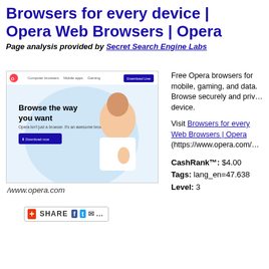Browsers for every device | Opera Web Browsers | Opera
Page analysis provided by Secret Search Engine Labs
[Figure (screenshot): Screenshot of Opera browser homepage showing 'Browse the way you want' tagline with a smiling woman and Download Now button on a light blue background]
/www.opera.com
[Figure (other): Share button with Facebook, Twitter, and email icons]
Free Opera browsers for mobile, gaming, and data. Browse securely and privately on any device.
Visit Browsers for every Web Browsers | Opera (https://www.opera.com/
CashRank™: $4.00
Tags: lang_en=47.638
Level: 3